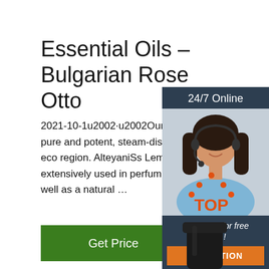Essential Oils – Bulgarian Rose Otto
2021-10-1u2002·u2002Our Bulgarian Lemon Ba pure and potent, steam-distilled from fresh plants eco region. AlteyaniSs Lemon Balm Essential Oi extensively used in perfumery, cosmetics and me well as a natural …
[Figure (other): Green 'Get Price' button]
[Figure (photo): Customer service chat widget with '24/7 Online' header, photo of woman with headset, 'Click here for free chat!' text, and orange QUOTATION button]
[Figure (logo): Orange and red TOP logo with dots forming a triangle above the word TOP]
[Figure (photo): Black bottle cap / essential oil bottle top visible at bottom of page]